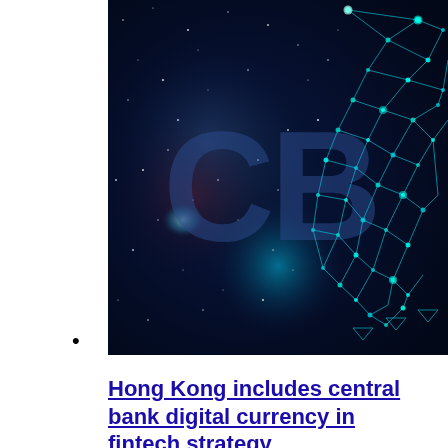[Figure (photo): Dark blue digital/space themed image showing large letters 'CB' (partial, likely 'CBDC') with glowing teal particle network forming a globe or lock shape on the right side, starfield background with nebula colors]
•
Hong Kong includes central bank digital currency in fintech strategy